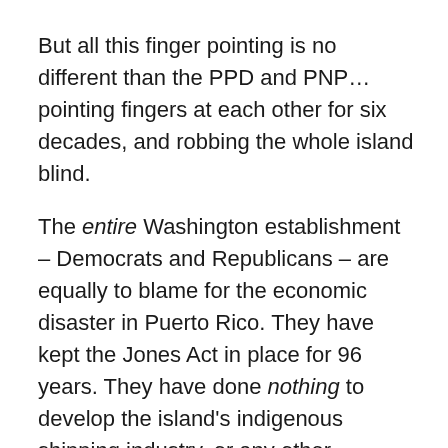But all this finger pointing is no different than the PPD and PNP…pointing fingers at each other for six decades, and robbing the whole island blind.
The entire Washington establishment – Democrats and Republicans – are equally to blame for the economic disaster in Puerto Rico. They have kept the Jones Act in place for 96 years. They have done nothing to develop the island's indigenous shipping industry, or any other industry.
And after a century of doing nothing, they now wring their hands and point fingers at each other…while continuing to do nothing.
It is the height of hypocrisy, and nakedly transparent.